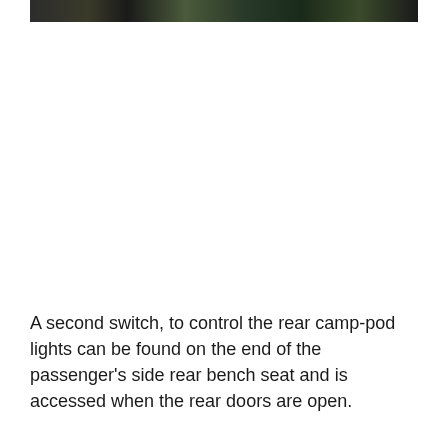[Figure (photo): A narrow horizontal strip of a photo showing an outdoor/nature scene with dark tones, partially cropped at the top of the page.]
A second switch, to control the rear camp-pod lights can be found on the end of the passenger's side rear bench seat and is accessed when the rear doors are open.